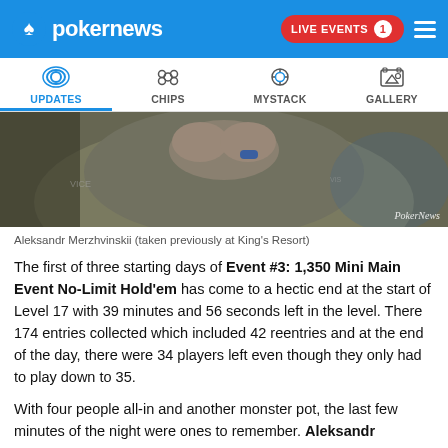pokernews — LIVE EVENTS 1
UPDATES | CHIPS | MYSTACK | GALLERY
[Figure (photo): A poker player in an olive jacket with hands clasped near his face, captured at a casino table. Watermark: PokerNews]
Aleksandr Merzhvinskii (taken previously at King's Resort)
The first of three starting days of Event #3: 1,350 Mini Main Event No-Limit Hold'em has come to a hectic end at the start of Level 17 with 39 minutes and 56 seconds left in the level. There 174 entries collected which included 42 reentries and at the end of the day, there were 34 players left even though they only had to play down to 35.
With four people all-in and another monster pot, the last few minutes of the night were ones to remember. Aleksandr